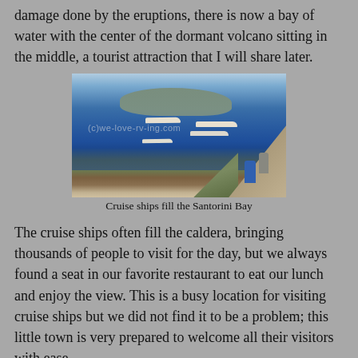damage done by the eruptions, there is now a bay of water with the center of the dormant volcano sitting in the middle, a tourist attraction that I will share later.
[Figure (photo): Aerial view of Santorini Bay filled with cruise ships anchored in blue water, with a volcanic island in the background and a hillside cliff with tourists in the foreground. Watermark reads (c)we-love-rv-ing.com]
Cruise ships fill the Santorini Bay
The cruise ships often fill the caldera, bringing thousands of people to visit for the day, but we always found a seat in our favorite restaurant to eat our lunch and enjoy the view. This is a busy location for visiting cruise ships but we did not find it to be a problem; this little town is very prepared to welcome all their visitors with ease.